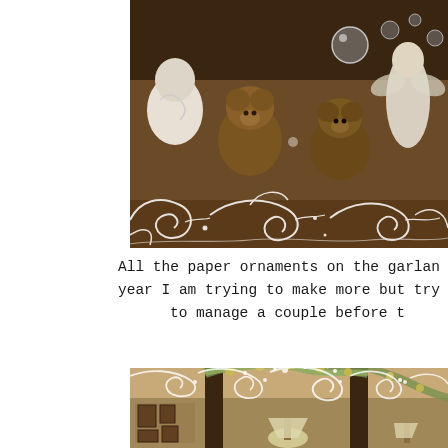[Figure (photo): Photo of Christmas decorations including teddy bears and figurines (angels/snowmen) on a dark wood shelf, with white ornamental swirl overlay at the bottom edge]
All the paper ornaments on the garlan year I am trying to make more but try to manage a couple before t
[Figure (photo): Photo of a room interior decorated for Christmas with garland, ornaments, and lights hanging over doorways/columns, picture frames on the wall, lamps visible, with white ornamental swirl overlay at the top edge]